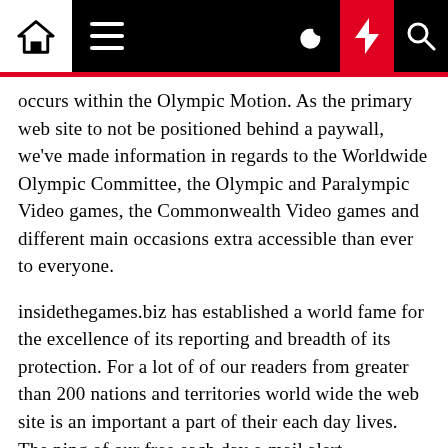[Navigation bar with home icon, hamburger menu, moon icon, flash/lightning icon, search icon]
occurs within the Olympic Motion. As the primary web site to not be positioned behind a paywall, we've made information in regards to the Worldwide Olympic Committee, the Olympic and Paralympic Video games, the Commonwealth Video games and different main occasions extra accessible than ever to everyone.
insidethegames.biz has established a world fame for the excellence of its reporting and breadth of its protection. For a lot of of our readers from greater than 200 nations and territories world wide the web site is an important a part of their each day lives. The ping of our free each day e-mail alert, despatched each morning at 6.30am UK time three hundred and sixty five days a yr, touchdown of their inbox, is as a well-known a part of their day as their first cup of